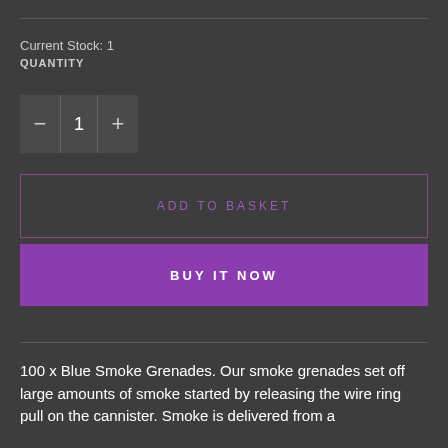Current Stock: 1
QUANTITY
[Figure (other): Quantity selector UI control with minus button, value of 1, and plus button]
ADD TO BASKET
BUY IT NOW
100 x Blue Smoke Grenades. Our smoke grenades set off large amounts of smoke started by releasing the wire ring pull on the cannister. Smoke is delivered from a